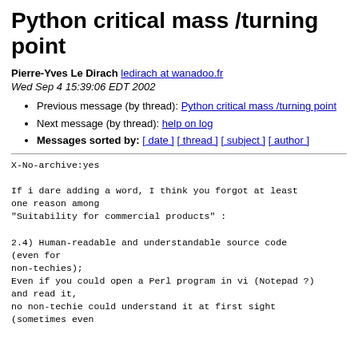Python critical mass /turning point
Pierre-Yves Le Dirach ledirach at wanadoo.fr
Wed Sep 4 15:39:06 EDT 2002
Previous message (by thread): Python critical mass /turning point
Next message (by thread): help on log
Messages sorted by: [ date ] [ thread ] [ subject ] [ author ]
X-No-archive:yes

If i dare adding a word, I think you forgot at least one reason among
"Suitability for commercial products" :

2.4) Human-readable and understandable source code (even for
non-techies);
Even if you could open a Perl program in vi (Notepad ?)
and read it,
no non-techie could understand it at first sight
(sometimes even